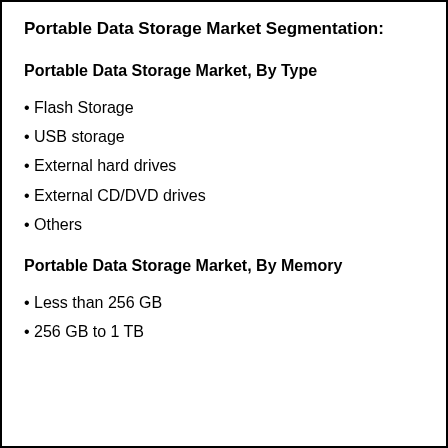Portable Data Storage Market Segmentation:
Portable Data Storage Market, By Type
Flash Storage
USB storage
External hard drives
External CD/DVD drives
Others
Portable Data Storage Market, By Memory
Less than 256 GB
256 GB to 1 TB